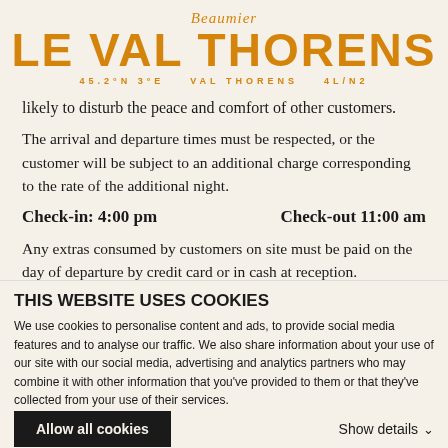Beaumier LE VAL THORENS VAL THORENS
likely to disturb the peace and comfort of other customers.
The arrival and departure times must be respected, or the customer will be subject to an additional charge corresponding to the rate of the additional night.
Check-in: 4:00 pm   Check-out 11:00 am
Any extras consumed by customers on site must be paid on the day of departure by credit card or in cash at reception.
THIS WEBSITE USES COOKIES
We use cookies to personalise content and ads, to provide social media features and to analyse our traffic. We also share information about your use of our site with our social media, advertising and analytics partners who may combine it with other information that you've provided to them or that they've collected from your use of their services.
Allow all cookies
Show details